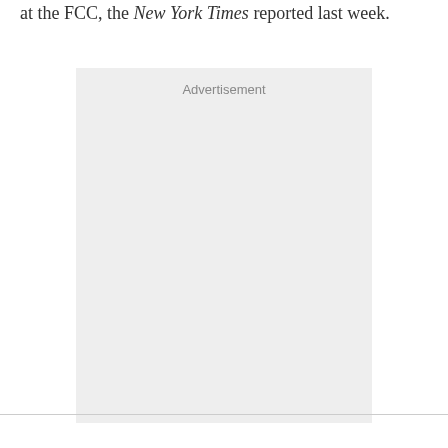at the FCC, the New York Times reported last week.
[Figure (other): Advertisement placeholder box with light gray background and 'Advertisement' label at the top]